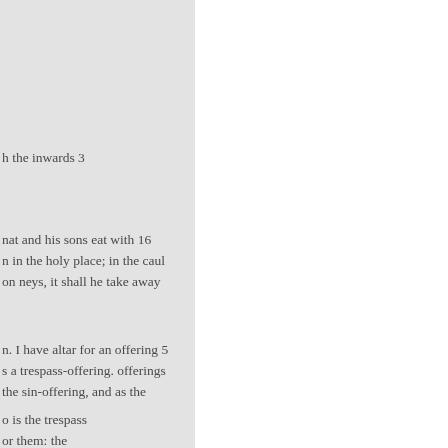h the inwards 3
nat and his sons eat with 16
n in the holy place; in the caul
on neys, it shall he take away
n. I have altar for an offering 5
s a trespass-offering. offerings
the sin-offering, and as the
o is the trespass
or them: the